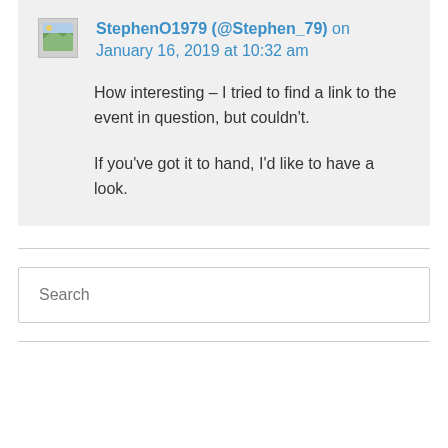StephenO1979 (@Stephen_79) on January 16, 2019 at 10:32 am
How interesting – I tried to find a link to the event in question, but couldn't.

If you've got it to hand, I'd like to have a look.